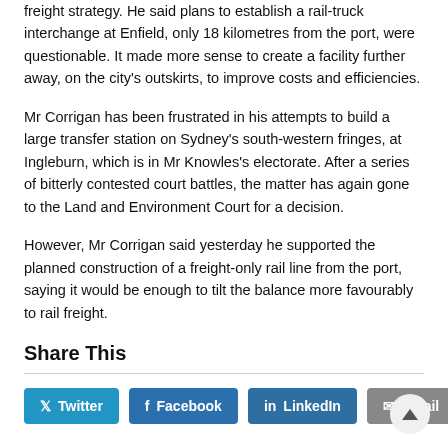freight strategy. He said plans to establish a rail-truck interchange at Enfield, only 18 kilometres from the port, were questionable. It made more sense to create a facility further away, on the city's outskirts, to improve costs and efficiencies.
Mr Corrigan has been frustrated in his attempts to build a large transfer station on Sydney's south-western fringes, at Ingleburn, which is in Mr Knowles's electorate. After a series of bitterly contested court battles, the matter has again gone to the Land and Environment Court for a decision.
However, Mr Corrigan said yesterday he supported the planned construction of a freight-only rail line from the port, saying it would be enough to tilt the balance more favourably to rail freight.
Share This
Twitter | Facebook | LinkedIn | Email